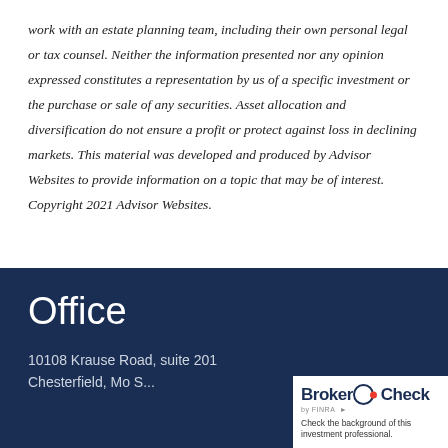work with an estate planning team, including their own personal legal or tax counsel. Neither the information presented nor any opinion expressed constitutes a representation by us of a specific investment or the purchase or sale of any securities. Asset allocation and diversification do not ensure a profit or protect against loss in declining markets. This material was developed and produced by Advisor Websites to provide information on a topic that may be of interest. Copyright 2021 Advisor Websites.
Office
10108 Krause Road, suite 201
[Figure (other): BrokerCheck by FINRA badge with text: Check the background of this investment professional.]